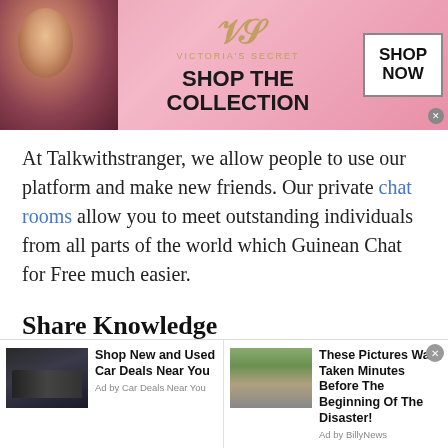[Figure (screenshot): Victoria's Secret advertisement banner with model, VS logo, 'SHOP THE COLLECTION' text and 'SHOP NOW' button]
At Talkwithstranger, we allow people to use our platform and make new friends. Our private chat rooms allow you to meet outstanding individuals from all parts of the world which Guinean Chat for Free much easier.
Share Knowledge
Since you meet new people from any random part of the world, it gives you a chance to expand your horizons and get to learn more about other cultures, other regions, and what goes on in other parts of the world.
[Figure (screenshot): Bottom advertisement bar with two ad items: 'Shop New and Used Car Deals Near You' by Car Deals Near You, and 'These Pictures Was Taken Minutes Before The Beginning Of The Disaster!' by BillyNews]